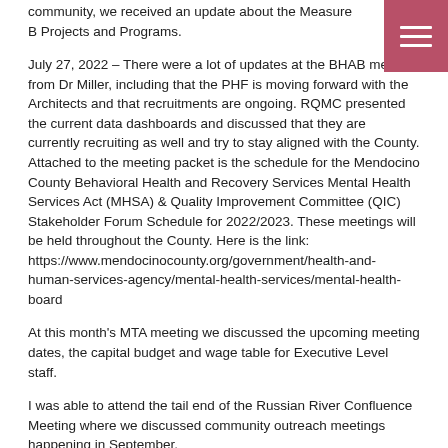community, we received an update about the Measure B Projects and Programs.
July 27, 2022 – There were a lot of updates at the BHAB meeting from Dr Miller, including that the PHF is moving forward with the Architects and that recruitments are ongoing. RQMC presented the current data dashboards and discussed that they are currently recruiting as well and try to stay aligned with the County. Attached to the meeting packet is the schedule for the Mendocino County Behavioral Health and Recovery Services Mental Health Services Act (MHSA) & Quality Improvement Committee (QIC) Stakeholder Forum Schedule for 2022/2023. These meetings will be held throughout the County. Here is the link: https://www.mendocinocounty.org/government/health-and-human-services-agency/mental-health-services/mental-health-board
At this month's MTA meeting we discussed the upcoming meeting dates, the capital budget and wage table for Executive Level staff.
I was able to attend the tail end of the Russian River Confluence Meeting where we discussed community outreach meetings happening in September.
I attended the Clean Up Planning Meeting for the Streets to Creeks clean up in September 17, 2022.
July 28, 2022 – I attended a virtual Childhood Exploitation meeting by CAHTO Tribe. They were raising awareness about human trafficking and